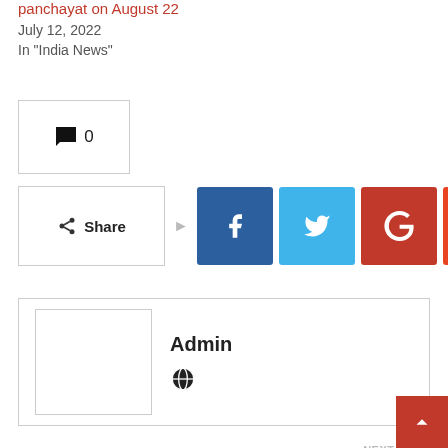panchayat on August 22
July 12, 2022
In "India News"
[Figure (other): Comment count button showing speech bubble icon and 0]
[Figure (other): Share buttons row: Share label with arrow, then Facebook, Twitter, Google+, Reddit, WhatsApp, and more (+) icons]
[Figure (other): Author card with empty avatar placeholder, Admin name, and globe/website icon]
PREV POST
Megalodon may have
NEXT POST
CBC to invest in program